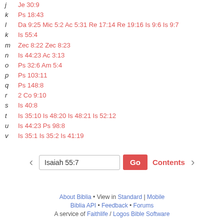j  Je 30:9
k  Ps 18:43
l  Da 9:25 Mic 5:2 Ac 5:31 Re 17:14 Re 19:16 Is 9:6 Is 9:7
k  Is 55:4
m  Zec 8:22 Zec 8:23
n  Is 44:23 Ac 3:13
o  Ps 32:6 Am 5:4
p  Ps 103:11
q  Ps 148:8
r  2 Co 9:10
s  Is 40:8
t  Is 35:10 Is 48:20 Is 48:21 Is 52:12
u  Is 44:23 Ps 98:8
v  Is 35:1 Is 35:2 Is 41:19
Isaiah 55:7
About Biblia • View in Standard | Mobile  Biblia API • Feedback • Forums  A service of Faithlife / Logos Bible Software